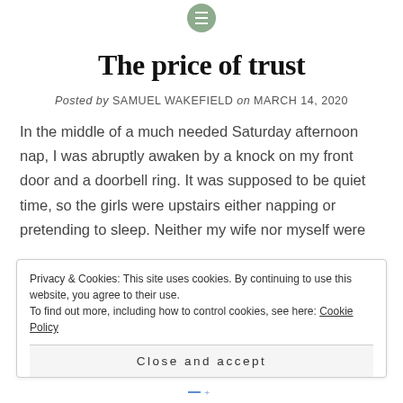[Menu icon]
The price of trust
Posted by SAMUEL WAKEFIELD on MARCH 14, 2020
In the middle of a much needed Saturday afternoon nap, I was abruptly awaken by a knock on my front door and a doorbell ring. It was supposed to be quiet time, so the girls were upstairs either napping or pretending to sleep. Neither my wife nor myself were
Privacy & Cookies: This site uses cookies. By continuing to use this website, you agree to their use.
To find out more, including how to control cookies, see here: Cookie Policy
Close and accept